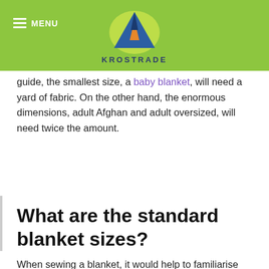MENU | KROSTRADE
guide, the smallest size, a baby blanket, will need a yard of fabric. On the other hand, the enormous dimensions, adult Afghan and adult oversized, will need twice the amount.
What are the standard blanket sizes?
When sewing a blanket, it would help to familiarise yourself with different standard blanket sizes. You'll use the dimensions when cutting the pieces you'll need and gauging how much fabric required in the first place. For bed blankets, there are crib, twin, double, queen, and king-size blankets.